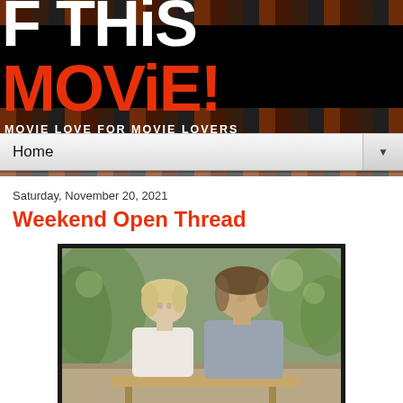F THiS MOViE! — MOVIE LOVE FOR MOVIE LOVERS
Home
Saturday, November 20, 2021
Weekend Open Thread
[Figure (photo): Movie still showing a woman with short blonde hair in a white sleeveless top and a man in a grey shirt, sitting together outdoors at what appears to be a table or bench, with green foliage in the background.]